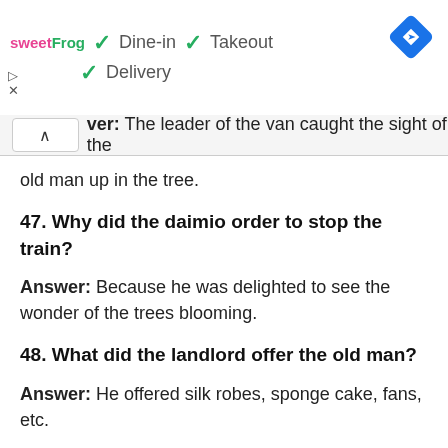[Figure (screenshot): Advertisement banner for sweetFrog restaurant showing dine-in, takeout, delivery options and a navigation icon]
ver: The leader of the van caught the sight of the old man up in the tree.
47. Why did the daimio order to stop the train?
Answer: Because he was delighted to see the wonder of the trees blooming.
48. What did the landlord offer the old man?
Answer: He offered silk robes, sponge cake, fans, etc.